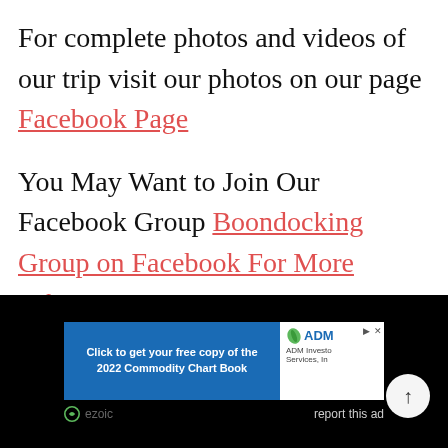For complete photos and videos of our trip visit our photos on our page Facebook Page
You May Want to Join Our Facebook Group Boondocking Group on Facebook For More Information
[Figure (screenshot): Dark footer area with an advertisement banner. The ad has a blue section reading 'Click to get your free copy of the 2022 Commodity Chart Book' and an ADM Investor Services logo. Below the ad is an ezoic logo on the left and 'report this ad' text on the right. A circular scroll-to-top button with an upward arrow is on the right side.]